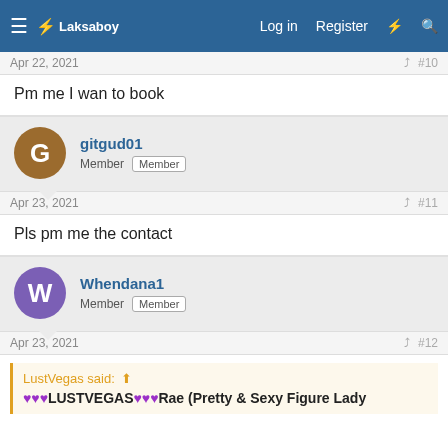Laksaboy — Log in  Register
Apr 22, 2021  #10
Pm me I wan to book
gitgud01  Member  Member
Apr 23, 2021  #11
Pls pm me the contact
Whendana1  Member  Member
Apr 23, 2021  #12
LustVegas said: ♥♥♥LUSTVEGAS♥♥♥Rae (Pretty & Sexy Figure Lady